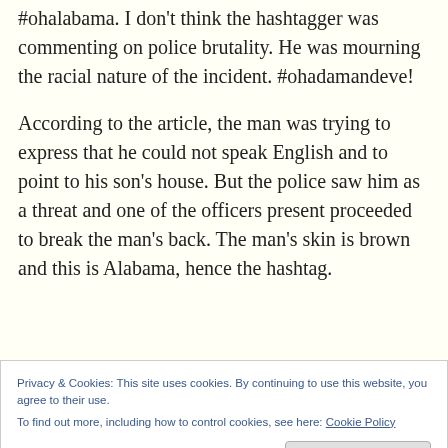#ohalabama. I don't think the hashtagger was commenting on police brutality. He was mourning the racial nature of the incident. #ohadamandeve!

According to the article, the man was trying to express that he could not speak English and to point to his son's house. But the police saw him as a threat and one of the officers present proceeded to break the man's back. The man's skin is brown and this is Alabama, hence the hashtag.
Privacy & Cookies: This site uses cookies. By continuing to use this website, you agree to their use.
To find out more, including how to control cookies, see here: Cookie Policy
look images. You know the kind; you have to